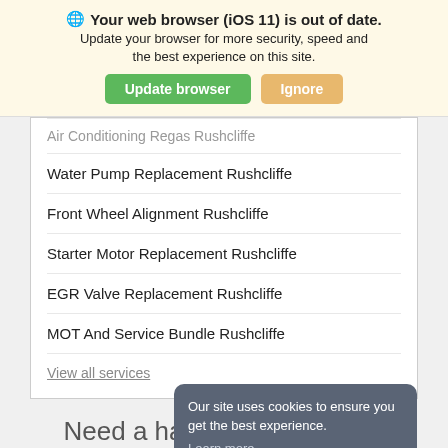[Figure (screenshot): Browser out-of-date warning banner with globe icon, bold title, subtitle text, green 'Update browser' button and tan 'Ignore' button]
Air Conditioning Regas Rushcliffe
Water Pump Replacement Rushcliffe
Front Wheel Alignment Rushcliffe
Starter Motor Replacement Rushcliffe
EGR Valve Replacement Rushcliffe
MOT And Service Bundle Rushcliffe
View all services
Our site uses cookies to ensure you get the best experience. Learn more OK
Need a hand understanding what your car needs?